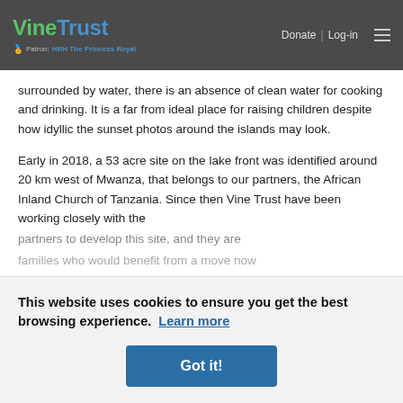VineTrust | Patron: HRH The Princess Royal | Donate | Log-in
surrounded by water, there is an absence of clean water for cooking and drinking. It is a far from ideal place for raising children despite how idyllic the sunset photos around the islands may look.
Early in 2018, a 53 acre site on the lake front was identified around 20 km west of Mwanza, that belongs to our partners, the African Inland Church of Tanzania. Since then Vine Trust have been working closely with the
This website uses cookies to ensure you get the best browsing experience. Learn more
Got it!